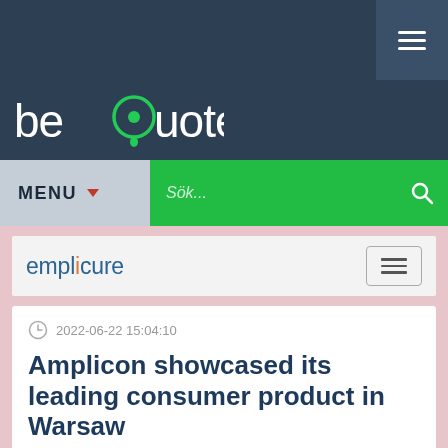[Figure (logo): beQuoted website header with navigation bar showing hamburger menu, beQuoted logo, MENU button, and search bar]
[Figure (logo): emplicure logo with hamburger menu toggle button]
2022-06-22 15:04:10
Amplicon showcased its leading consumer product in Warsaw
Amplicon, a wholly owned